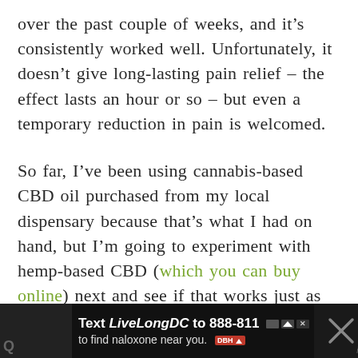over the past couple of weeks, and it's consistently worked well. Unfortunately, it doesn't give long-lasting pain relief – the effect lasts an hour or so – but even a temporary reduction in pain is welcomed.
So far, I've been using cannabis-based CBD oil purchased from my local dispensary because that's what I had on hand, but I'm going to experiment with hemp-based CBD (which you can buy online) next and see if that works just as well.
[Figure (other): Advertisement banner at the bottom of the page. Dark background with text 'Text LiveLongDC to 888-811 to find naloxone near you.' with DBH logo and a close button X mark. Partial text visible on right side.]